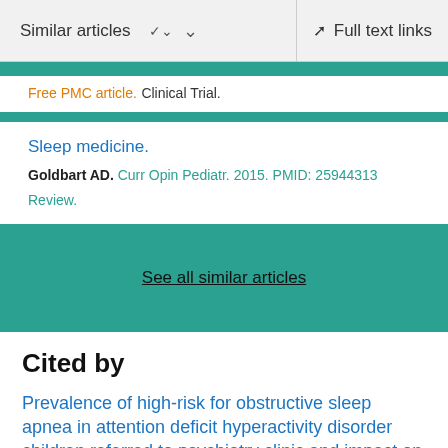Similar articles   Full text links
Free PMC article. Clinical Trial.
Sleep medicine.
Goldbart AD. Curr Opin Pediatr. 2015. PMID: 25944313
Review.
See all similar articles
Cited by
Prevalence of high-risk for obstructive sleep apnea in attention deficit hyperactivity disorder children referred to psychiatry clinic and impact on quality